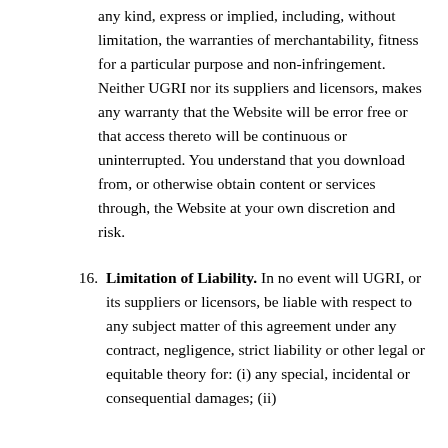any kind, express or implied, including, without limitation, the warranties of merchantability, fitness for a particular purpose and non-infringement. Neither UGRI nor its suppliers and licensors, makes any warranty that the Website will be error free or that access thereto will be continuous or uninterrupted. You understand that you download from, or otherwise obtain content or services through, the Website at your own discretion and risk.
16. Limitation of Liability. In no event will UGRI, or its suppliers or licensors, be liable with respect to any subject matter of this agreement under any contract, negligence, strict liability or other legal or equitable theory for: (i) any special, incidental or consequential damages; (ii)